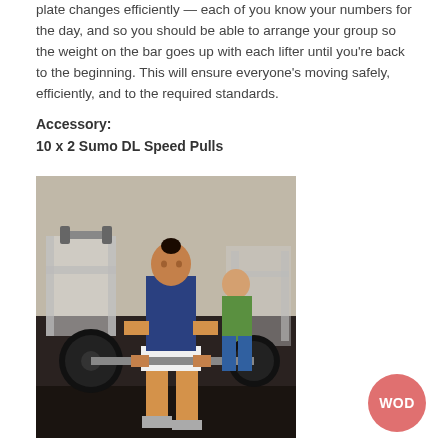plate changes efficiently — each of you know your numbers for the day, and so you should be able to arrange your group so the weight on the bar goes up with each lifter until you're back to the beginning. This will ensure everyone's moving safely, efficiently, and to the required standards.
Accessory:
10 x 2 Sumo DL Speed Pulls
[Figure (photo): A woman in a navy blue t-shirt and white shorts performing a deadlift with a heavily loaded barbell in a gym setting. A man in a green shirt watches in the background. Gym equipment including weight racks are visible.]